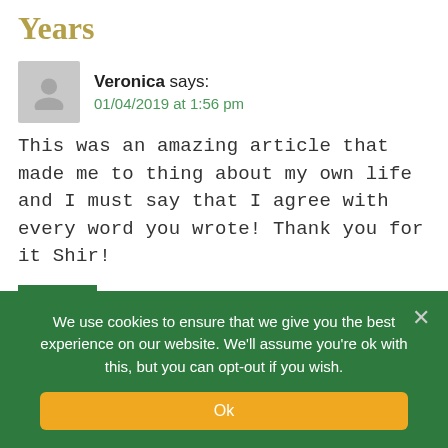Years
Veronica says:
01/04/2019 at 1:56 pm
This was an amazing article that made me to thing about my own life and I must say that I agree with every word you wrote! Thank you for it Shir!
Reply
Shir says:
01/04/2019 at 2:15 pm
I'm so glad you can relate Veronica. Thanks
We use cookies to ensure that we give you the best experience on our website. We'll assume you're ok with this, but you can opt-out if you wish.
Ok